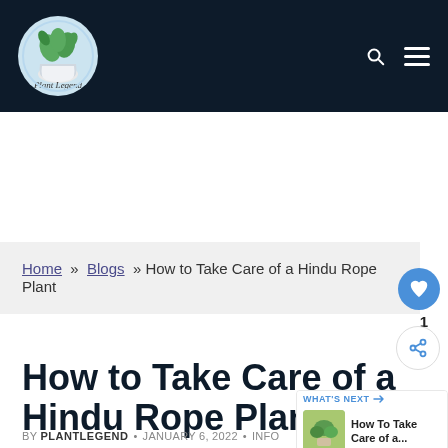Plant Legend
Home » Blogs » How to Take Care of a Hindu Rope Plant
How to Take Care of a Hindu Rope Plant
WHAT'S NEXT → How To Take Care of a...
BY PLANTLEGEND • JANUARY 6, 2022 • INFO